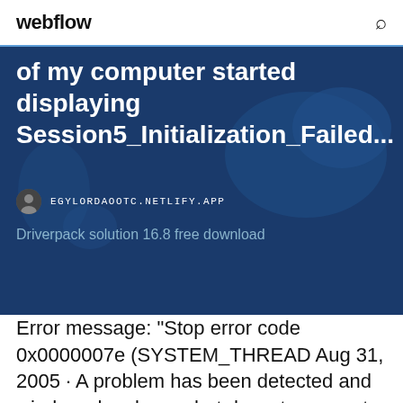webflow
of my computer started displaying Session5_Initialization_Failed...
EGYLORDAOOTC.NETLIFY.APP
Driverpack solution 16.8 free download
Error message: "Stop error code 0x0000007e (SYSTEM_THREAD Aug 31, 2005 · A problem has been detected and windows has been shut down to prevent damage to your computer. A